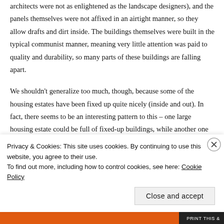architects were not as enlightened as the landscape designers), and the panels themselves were not affixed in an airtight manner, so they allow drafts and dirt inside. The buildings themselves were built in the typical communist manner, meaning very little attention was paid to quality and durability, so many parts of these buildings are falling apart.
We shouldn't generalize too much, though, because some of the housing estates have been fixed up quite nicely (inside and out). In fact, there seems to be an interesting pattern to this – one large housing estate could be full of fixed-up buildings, while another one close by will have almost none (the residents of a building have to agree to it...)  the residents to agree, with the money to finance the
Privacy & Cookies: This site uses cookies. By continuing to use this website, you agree to their use.
To find out more, including how to control cookies, see here: Cookie Policy
Close and accept